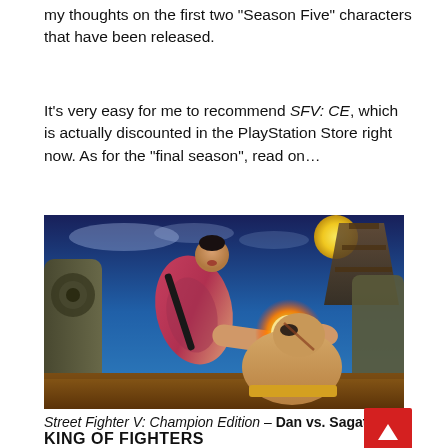my thoughts on the first two “Season Five” characters that have been released.
It’s very easy for me to recommend SFV: CE, which is actually discounted in the PlayStation Store right now. As for the “final season”, read on…
[Figure (photo): Street Fighter V Champion Edition screenshot showing Dan performing a flying kick against Sagat, with a pagoda and night sky in the background. There is a bright explosion/impact effect between the two fighters.]
Street Fighter V: Champion Edition – Dan vs. Sagat
KING OF FIGHTERS